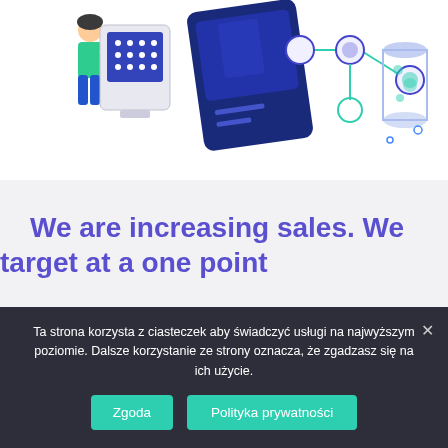[Figure (illustration): Top portion of an isometric illustration showing a person at a computer terminal, digital tablet/card, connected circles/nodes workflow icons, and a cylindrical data container — depicting a digital sales or data processing concept.]
We are increasing sales. We target at a one point
Customerla Buyer
Ta strona korzysta z ciasteczek aby świadczyć usługi na najwyższym poziomie. Dalsze korzystanie ze strony oznacza, że zgadzasz się na ich użycie.